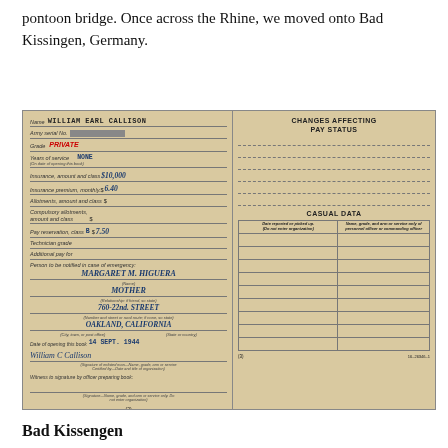pontoon bridge. Once across the Rhine, we moved onto Bad Kissingen, Germany.
[Figure (photo): Scanned military pay book showing two panels. Left panel has fields: Name (WILLIAM EARL CALLISON), Army serial No. (redacted), Grade (PRIVATE), Years of service (NONE), Insurance amount and class ($10,000), Insurance premium monthly ($6.40), Allotments, Compulsory allotments, Pay reservation class B ($7.50), Technician grade, Additional pay for, Person to be notified in emergency: MARGARET M. HIGUERA, MOTHER, 760-22nd. STREET, OAKLAND, CALIFORNIA, Date of opening this book 14 SEPT. 1944, signature William C Callison, witness signature line, numbered (2). Right panel has CHANGES AFFECTING PAY STATUS with dotted lines, then CASUAL DATA table with columns for Date reported or picked up and Name/grade/arm or service, numbered (3) with form number 16-26346-1.]
Bad Kissengen